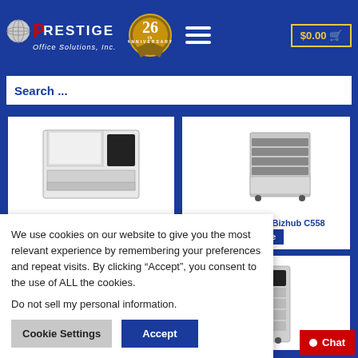[Figure (logo): Prestige Office Solutions Inc. logo with red P, white RESTIGE text, and stylized globe icon]
[Figure (logo): 26th Anniversary gold badge/seal]
$0.00 cart button
Search ...
[Figure (photo): Toshiba E-Studio 907 office printer/copier]
Toshiba E-Studio 907
[Figure (photo): Konica Minolta Bizhub C558 office printer/copier]
Konica Minolta Bizhub C558
[Figure (photo): Office printer partial view bottom left]
[Figure (photo): Office printer partial view bottom right]
We use cookies on our website to give you the most relevant experience by remembering your preferences and repeat visits. By clicking “Accept”, you consent to the use of ALL the cookies.
Do not sell my personal information.
Cookie Settings
Accept
Chat